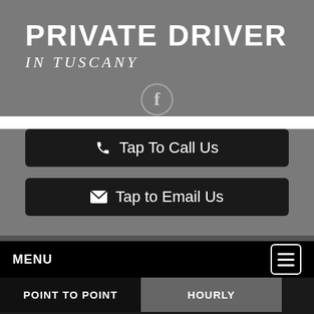PRIVATE DRIVER
IN TUSCANY
[Figure (logo): Facebook icon in a circle outline]
Tap To Call Us
Tap to Email Us
MENU
POINT TO POINT | HOURLY
Pick Up Location